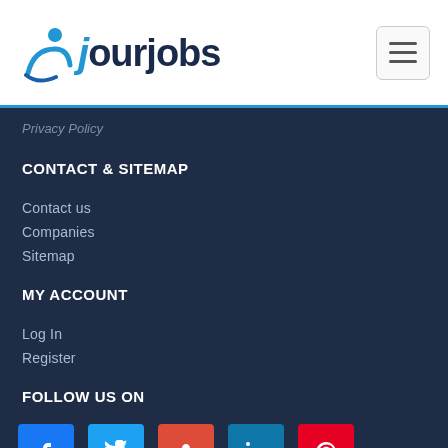[Figure (logo): OurJobs logo with blue person icon and dark blue text]
Privacy Policy
CONTACT & SITEMAP
Contact us
Companies
Sitemap
MY ACCOUNT
Log In
Register
FOLLOW US ON
[Figure (other): Social media icons row: Facebook, Twitter, Google+, LinkedIn, Pinterest]
© 2022 OurJobs. All Rights Reserved.